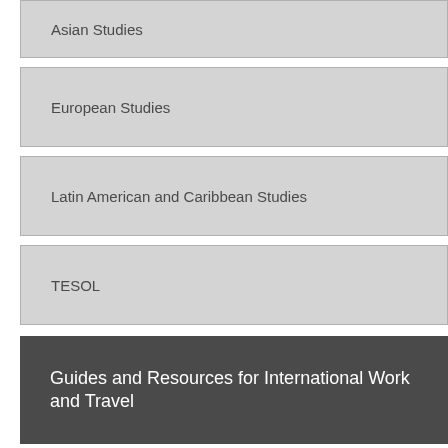Asian Studies
European Studies
Latin American and Caribbean Studies
TESOL
Guides and Resources for International Work and Travel
What is International Relations?
Career Guide
Salary Guide